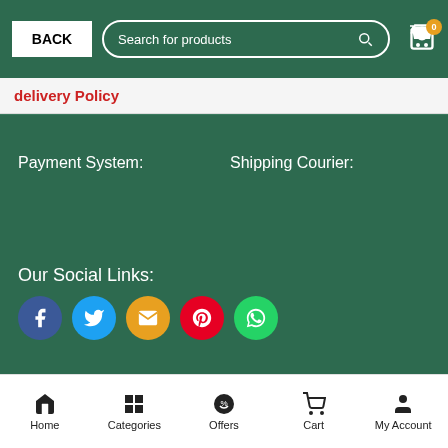BACK | Search for products | Cart 0
delivery Policy
Payment System:
Shipping Courier:
Our Social Links:
[Figure (infographic): Five social media icons in circles: Facebook (dark blue), Twitter (light blue), Email (orange), Pinterest (red), WhatsApp (green)]
© 2022 Shop Go Natural. All rights reserved
Home | Categories | Offers | Cart | My Account